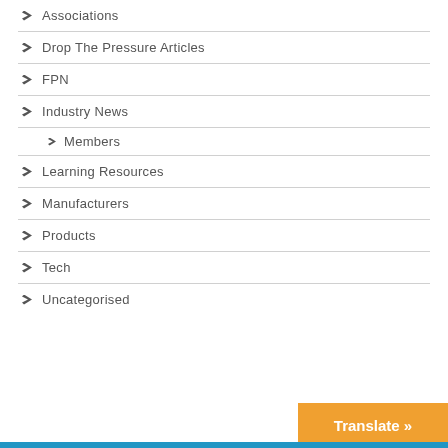Associations
Drop The Pressure Articles
FPN
Industry News
Members
Learning Resources
Manufacturers
Products
Tech
Uncategorised
Translate »